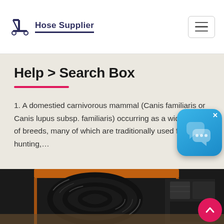Hose Supplier
Help > Search Box
1. A domestied carnivorous mammal (Canis familiaris or Canis lupus subsp. familiaris) occurring as a wide variety of breeds, many of which are traditionally used for hunting,...
[Figure (photo): Photo of coiled black hydraulic hoses stacked on industrial shelving]
[Figure (illustration): Chat support popup icon — blue rounded square with speech bubble icons]
[Figure (other): Pink scroll-to-top button with upward chevron arrow]